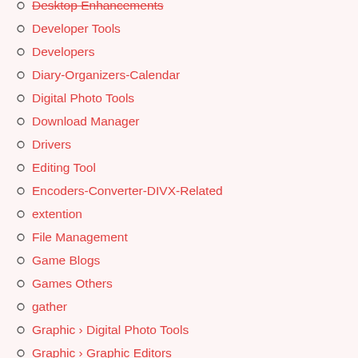Desktop Enhancements
Developer Tools
Developers
Diary-Organizers-Calendar
Digital Photo Tools
Download Manager
Drivers
Editing Tool
Encoders-Converter-DIVX-Related
extention
File Management
Game Blogs
Games Others
gather
Graphic › Digital Photo Tools
Graphic › Graphic Editors